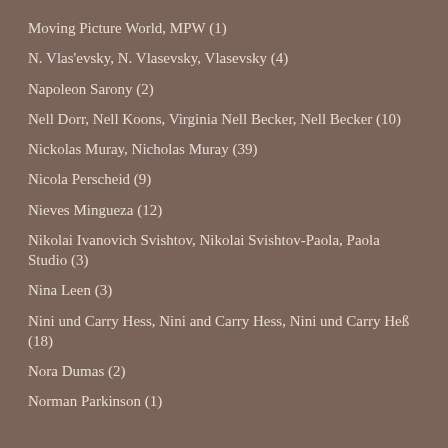Moving Picture World, MPW (1)
N. Vlas'evsky, N. Vlasevsky, Vlasevsky (4)
Napoleon Sarony (2)
Nell Dorr, Nell Koons, Virginia Nell Becker, Nell Becker (10)
Nickolas Muray, Nicholas Muray (39)
Nicola Perscheid (9)
Nieves Mingueza (12)
Nikolai Ivanovich Svishtov, Nikolai Svishtov-Paola, Paola Studio (3)
Nina Leen (3)
Nini und Carry Hess, Nini and Carry Hess, Nini und Carry Heß (18)
Nora Dumas (2)
Norman Parkinson (1)